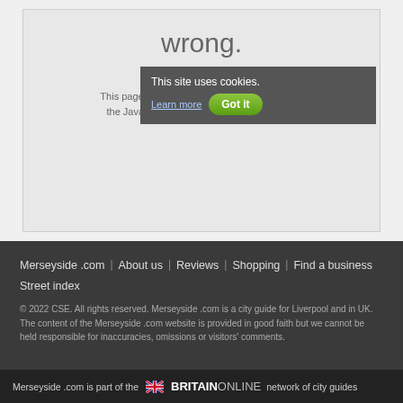[Figure (screenshot): Google Maps error screen on light grey background showing 'wrong.' and error message text]
wrong.
This page didn't load Google Maps correctly. See the JavaScript console for technical details.
This site uses cookies.
Learn more  Got it
Merseyside .com | About us | Reviews | Shopping | Find a business Street index
© 2022 CSE. All rights reserved. Merseyside .com is a city guide for Liverpool and in UK. The content of the Merseyside .com website is provided in good faith but we cannot be held responsible for inaccuracies, omissions or visitors' comments.
Merseyside .com is part of the 🇬🇧 BRITAINONLINE network of city guides